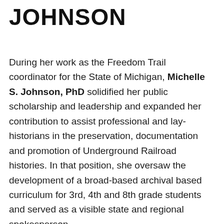JOHNSON
During her work as the Freedom Trail coordinator for the State of Michigan, Michelle S. Johnson, PhD solidified her public scholarship and leadership and expanded her contribution to assist professional and lay-historians in the preservation, documentation and promotion of Underground Railroad histories. In that position, she oversaw the development of a broad-based archival based curriculum for 3rd, 4th and 8th grade students and served as a visible state and regional spokesperson.
Johnson currently consults on a statewide Black history project that documents the people, stories and places of late 19th century Michigan. She researches, writes